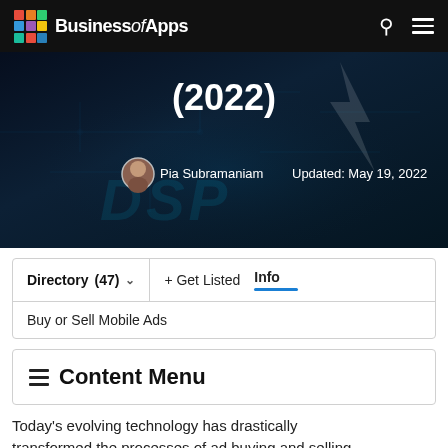BusinessofApps
[Figure (screenshot): Hero image with dark tech/circuit board background, title '(2022)', author Pia Subramaniam, Updated: May 19, 2022]
| Directory (47) | + Get Listed | Info |
| --- | --- | --- |
| Buy or Sell Mobile Ads |  |  |
≡ Content Menu
Today's evolving technology has drastically transformed the processes of ad buying and selling